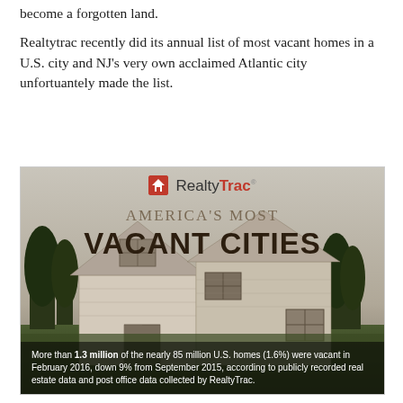become a forgotten land.
Realtytrac recently did its annual list of most vacant homes in a U.S. city and NJ's very own acclaimed Atlantic city unfortuantely made the list.
[Figure (infographic): RealtyTrac infographic showing an abandoned wooden farmhouse with text 'America's Most Vacant Cities' and a statistic: More than 1.3 million of the nearly 85 million U.S. homes (1.6%) were vacant in February 2016, down 9% from September 2015, according to publicly recorded real estate data and post office data collected by RealtyTrac.]